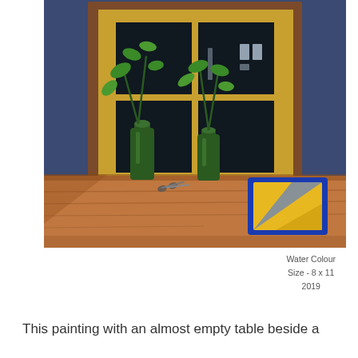[Figure (illustration): A watercolour painting of a table beside a window at night. Two green glass bottles with leafy plant stems stand on a wooden table in front of a dark window with a yellow/gold frame. A pair of scissors and a blue-framed mirror or tray with yellow and blue reflections are also on the table. The background wall is dark blue.]
Water Colour
Size - 8 x 11
2019
This painting with an almost empty table beside a